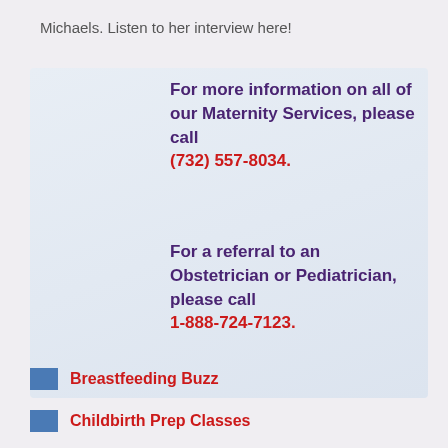Michaels. Listen to her interview here!
For more information on all of our Maternity Services, please call (732) 557-8034.
For a referral to an Obstetrician or Pediatrician, please call 1-888-724-7123.
Breastfeeding Buzz
Childbirth Prep Classes